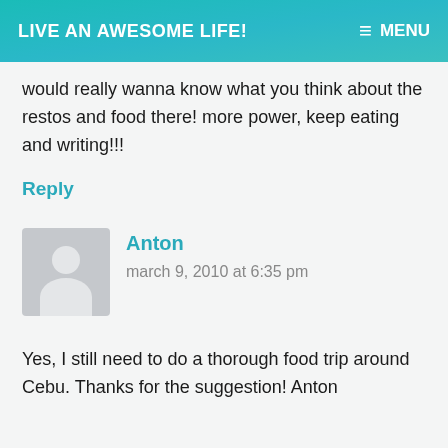LIVE AN AWESOME LIFE! MENU
would really wanna know what you think about the restos and food there! more power, keep eating and writing!!!
Reply
Anton
march 9, 2010 at 6:35 pm
Yes, I still need to do a thorough food trip around Cebu. Thanks for the suggestion! Anton